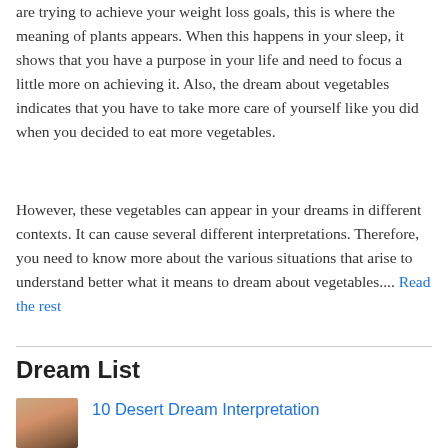are trying to achieve your weight loss goals, this is where the meaning of plants appears. When this happens in your sleep, it shows that you have a purpose in your life and need to focus a little more on achieving it. Also, the dream about vegetables indicates that you have to take more care of yourself like you did when you decided to eat more vegetables.
However, these vegetables can appear in your dreams in different contexts. It can cause several different interpretations. Therefore, you need to know more about the various situations that arise to understand better what it means to dream about vegetables.... Read the rest
Dream List
[Figure (photo): Small thumbnail image of a desert landscape with sand dunes and warm brown tones]
10 Desert Dream Interpretation